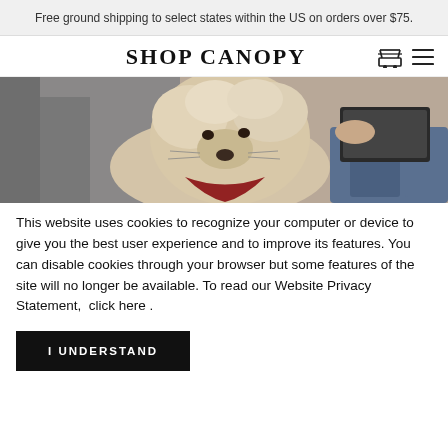Free ground shipping to select states within the US on orders over $75.
SHOP CANOPY
[Figure (photo): A fluffy white/cream dog wearing a red bandana, resting on a couch next to a person in jeans using a laptop.]
This website uses cookies to recognize your computer or device to give you the best user experience and to improve its features. You can disable cookies through your browser but some features of the site will no longer be available. To read our Website Privacy Statement,  click here .
I UNDERSTAND